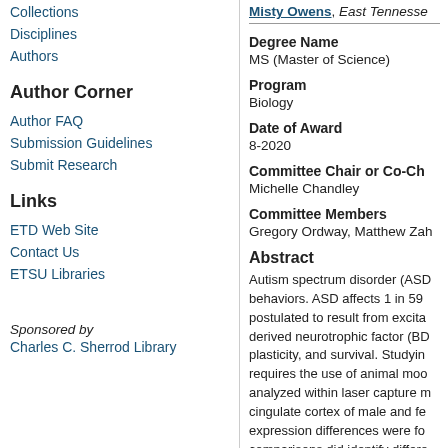Collections
Disciplines
Authors
Author Corner
Author FAQ
Submission Guidelines
Submit Research
Links
ETD Web Site
Contact Us
ETSU Libraries
Sponsored by
Charles C. Sherrod Library
Misty Owens, East Tennessee
Degree Name
MS (Master of Science)
Program
Biology
Date of Award
8-2020
Committee Chair or Co-Ch
Michelle Chandley
Committee Members
Gregory Ordway, Matthew Zah
Abstract
Autism spectrum disorder (ASD) behaviors. ASD affects 1 in 59 postulated to result from excita derived neurotrophic factor (BD plasticity, and survival. Studyin requires the use of animal moo analyzed within laser capture m cingulate cortex of male and fe expression differences were fo comparisons did identify differe gene expression were identifie